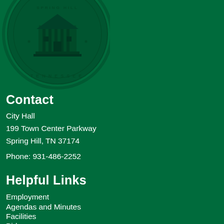[Figure (logo): Tennessee state seal / city of Spring Hill seal, circular emblem with building and text, dark green on green background, partially cropped at top-left]
Contact
City Hall
199 Town Center Parkway
Spring Hill, TN 37174
Phone: 931-486-2252
Helpful Links
Employment
Agendas and Minutes
Facilities
Bids